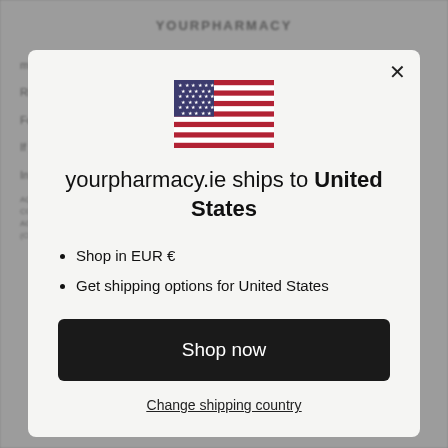[Figure (other): US flag emoji/SVG used as country indicator in modal dialog]
yourpharmacy.ie ships to United States
Shop in EUR €
Get shipping options for United States
Shop now
Change shipping country